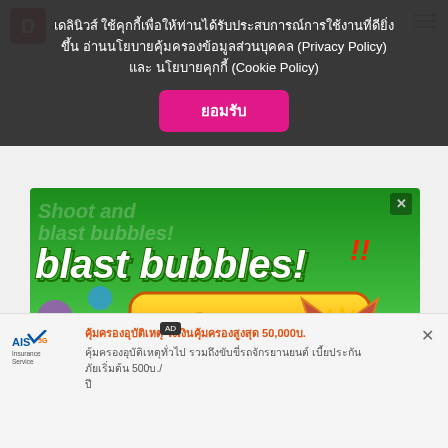เดลินิวส์ ใช้คุกกี้เพื่อให้ท่านได้รับประสบการณ์การใช้งานที่ดียิ่งขึ้น อ่านนโยบายคุ้มครองข้อมูลส่วนบุคคล (Privacy Policy) และ นโยบายคุกกี้ (Cookie Policy)
ยอมรับ
[Figure (illustration): Bubble Shooter Animal World game advertisement showing colorful bubbles, a fox/cat character, penguin, and 'Play Now' button on green background with 'blast bubbles!' text]
คุ้มครองอุบัติเหตุ วงเงินคุ้มครองสูงสุด 50,000บ.
คุ้มครองอุบัติเหตุทั่วไป รวมถึงขับขี่รถจักรยานยนต์ เบี้ยประกันภัยเริ่มต้น 500บ./ปี